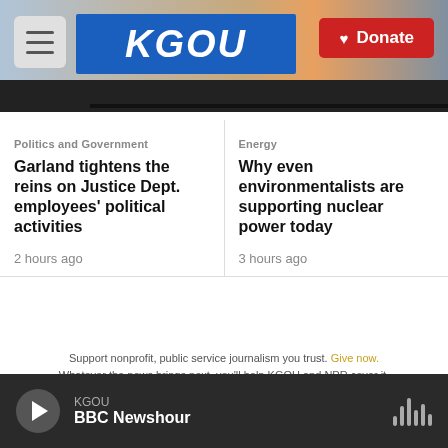[Figure (screenshot): KGOU public radio website header with logo, menu button, city background photo, and Donate button]
Politics and Government
Garland tightens the reins on Justice Dept. employees' political activities
2 hours ago
Energy
Why even environmentalists are supporting nuclear power today
3 hours ago
Support nonprofit, public service journalism you trust. Give now. Whatever the news brings next, you'll help KGOU and NPR cover it.
KGOU BBC Newshour